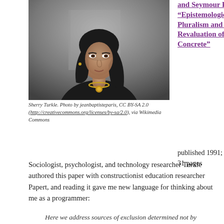[Figure (photo): Portrait photo of Sherry Turkle, a woman with dark hair wearing a black jacket and gold necklace/brooch, against a grey background]
Sherry Turkle. Photo by jeanbaptisteparis, CC BY-SA 2.0 (http://creativecommons.org/licenses/by-sa/2.0), via Wikimedia Commons
and Seymour Papert, “Epistemological Pluralism and the Revaluation of the Concrete”
published 1991; about 31 pages
Sociologist, psychologist, and technology researcher Turkle authored this paper with constructionist education researcher Papert, and reading it gave me new language for thinking about me as a programmer:
Here we address sources of exclusion determined not by